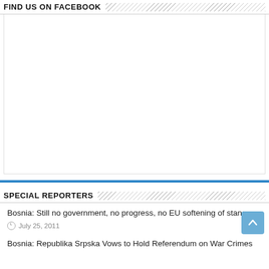FIND US ON FACEBOOK
[Figure (other): Empty white box placeholder for Facebook widget]
SPECIAL REPORTERS
Bosnia: Still no government, no progress, no EU softening of stance
July 25, 2011
Bosnia: Republika Srpska Vows to Hold Referendum on War Crimes